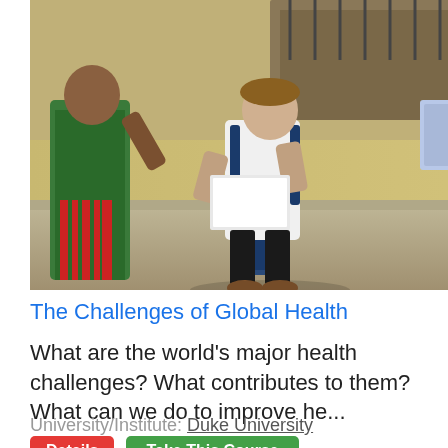[Figure (photo): Students conducting fieldwork outdoors, writing notes on clipboards and papers, with a local woman in traditional dress on the left and a backpack on the ground.]
The Challenges of Global Health
What are the world's major health challenges? What contributes to them? What can we do to improve he...
University/Institute: Duke University
Details   Take This Course